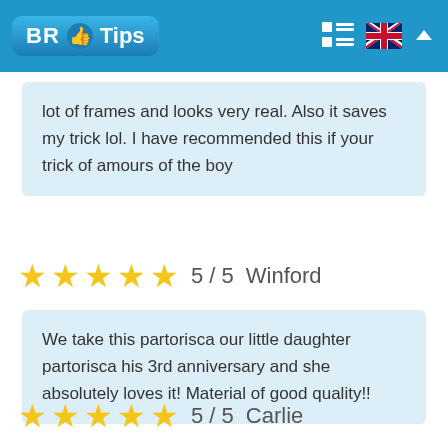[Figure (logo): BR Tips logo with thumbs up icon on blue header bar with menu icon, UK flag, and up arrow]
lot of frames and looks very real. Also it saves my trick lol. I have recommended this if your trick of amours of the boy
5 / 5   Winford
We take this partorisca our little daughter partorisca his 3rd anniversary and she absolutely loves it! Material of good quality!!
5 / 5   Carlie